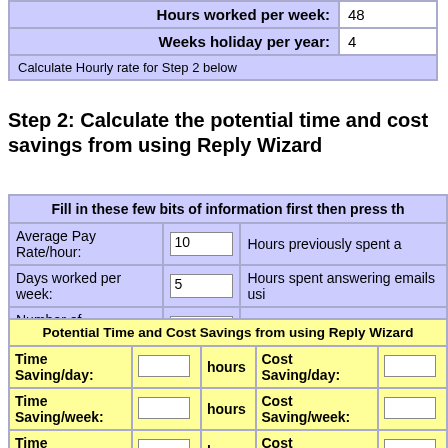| Hours worked per week: | 48 | Weeks holiday per year: | 4 | Calculate Hourly rate for Step 2 below |
| --- | --- | --- | --- | --- |
Step 2: Calculate the potential time and cost savings from using Reply Wizard
| Fill in these few bits of information first then press th... |
| --- |
| Average Pay Rate/hour: | 10 | Hours previously spent a... |
| Days worked per week: | 5 | Hours spent answering emails us... |
| Number of Employees: | 1 |  |
|  | Calculate time and cost saving of using Reply... |  |
| Potential Time and Cost Savings from using Reply Wizard |
| --- |
| Time Saving/day: |  | hours | Cost Saving/day: |  |
| Time Saving/week: |  | hours | Cost Saving/week: |  |
| Time Saving/year: |  | hours | Cost Saving/year: |  |
| Now compare this to the price of £24.99 GBP (approx $40 USD or 26 Euro)! |